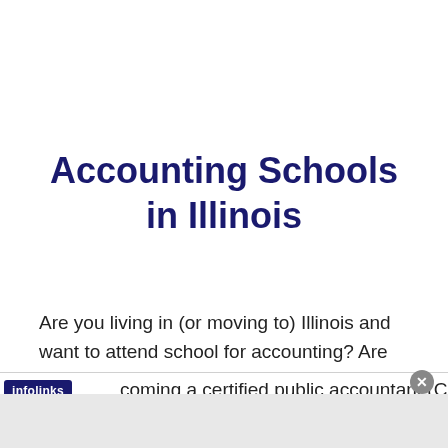Accounting Schools in Illinois
Are you living in (or moving to) Illinois and want to attend school for accounting? Are you thinking of becoming a certified public accountant (CPA)